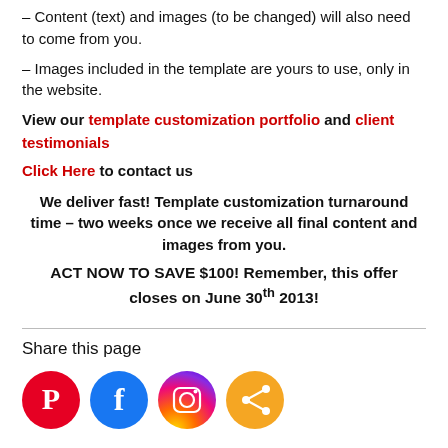– Content (text) and images (to be changed) will also need to come from you.
– Images included in the template are yours to use, only in the website.
View our template customization portfolio and client testimonials
Click Here to contact us
We deliver fast! Template customization turnaround time – two weeks once we receive all final content and images from you.
ACT NOW TO SAVE $100! Remember, this offer closes on June 30th 2013!
Share this page
[Figure (infographic): Four social media share icons in circles: Pinterest (red), Facebook (blue), Instagram (gradient purple/orange), Share (orange)]